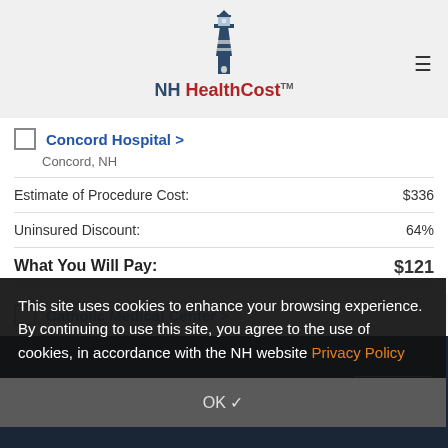[Figure (logo): NH HealthCost lighthouse logo with text 'NH HealthCost TM']
Concord Hospital > Concord, NH
|  |  |
| --- | --- |
| Estimate of Procedure Cost: | $336 |
| Uninsured Discount: | 64% |
| What You Will Pay: | $121 |
Catholic Medical Center > Manchester, NH
This site uses cookies to enhance your browsing experience. By continuing to use this site, you agree to the use of cookies, in accordance with the NH website Privacy Policy
OK ✓
COMPARE SELECTED
Search